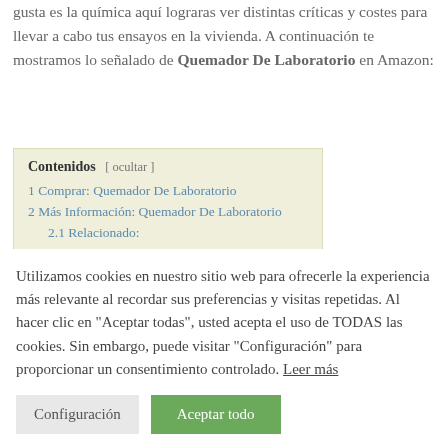gusta es la química aquí lograras ver distintas críticas y costes para llevar a cabo tus ensayos en la vivienda. A continuación te mostramos lo señalado de Quemador De Laboratorio en Amazon:
1 Comprar: Quemador De Laboratorio
2 Más Información: Quemador De Laboratorio
2.1 Relacionado:
Utilizamos cookies en nuestro sitio web para ofrecerle la experiencia más relevante al recordar sus preferencias y visitas repetidas. Al hacer clic en "Aceptar todas", usted acepta el uso de TODAS las cookies. Sin embargo, puede visitar "Configuración" para proporcionar un consentimiento controlado. Leer más